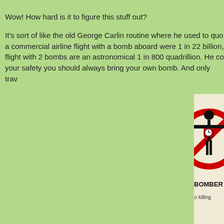Wow! How hard is it to figure this stuff out?

It's sort of like the old George Carlin routine where he used to quote that the odds of being on a commercial airline flight with a bomb aboard were 1 in 22 billion, but the odds of being on a flight with 2 bombs are an astronomical 1 in 800 quadrillion. He concluded that for your safety you should always bring your own bomb. And only trav
[Figure (illustration): A prohibition sign (red circle with diagonal bar) showing a stick figure with a clock/bomb strapped to its chest (suicide bomber icon). Below the sign text reads 'SUICIDE BOMBER R' and 'Absolutely no killing' on a cream/beige background.]